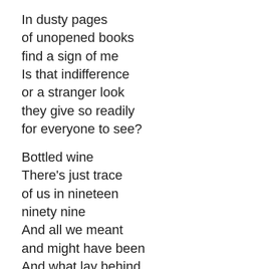In dusty pages
of unopened books
find a sign of me
Is that indifference
or a stranger look
they give so readily
for everyone to see?

Bottled wine
There's just trace
of us in nineteen
ninety nine
And all we meant
and might have been
And what lay behind
your twisted mind